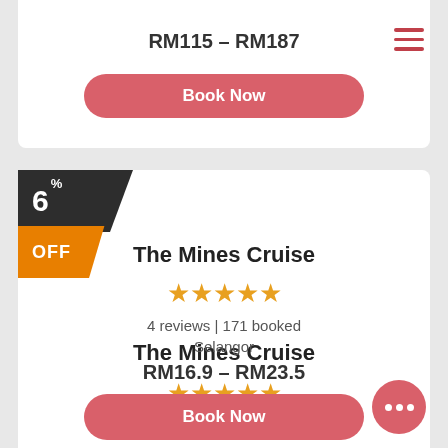RM115 – RM187
Book Now
[Figure (infographic): 6% OFF discount badge in dark and orange ribbon style]
The Mines Cruise
[Figure (infographic): 5 yellow stars rating]
4 reviews | 171 booked
Selangor
RM16.9 – RM23.5
Book Now